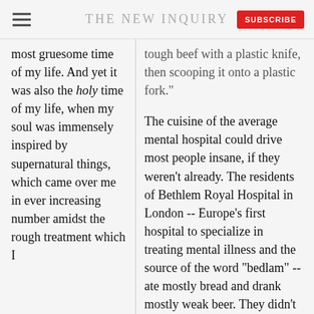THE NEW INQUIRY
most gruesome time of my life. And yet it was also the holy time of my life, when my soul was immensely inspired by supernatural things, which came over me in ever increasing number amidst the rough treatment which I
tough beef with a plastic knife, then scooping it onto a plastic fork."
The cuisine of the average mental hospital could drive most people insane, if they weren't already. The residents of Bethlem Royal Hospital in London -- Europe's first hospital to specialize in treating mental illness and the source of the word "bedlam" -- ate mostly bread and drank mostly weak beer. They didn't even get breakfast. When the